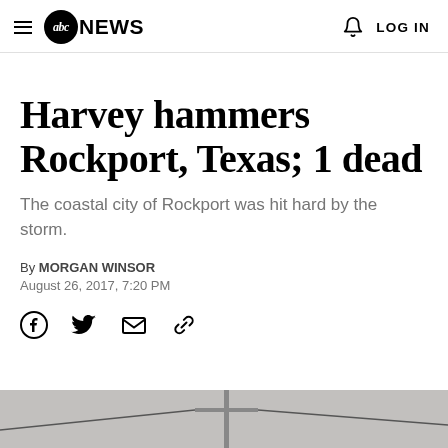abc NEWS  LOG IN
Harvey hammers Rockport, Texas; 1 dead
The coastal city of Rockport was hit hard by the storm.
By MORGAN WINSOR
August 26, 2017, 7:20 PM
[Figure (other): Social sharing icons: Facebook, Twitter, Email, Link]
[Figure (photo): Bottom portion of a news photo showing storm damage in Rockport, Texas]